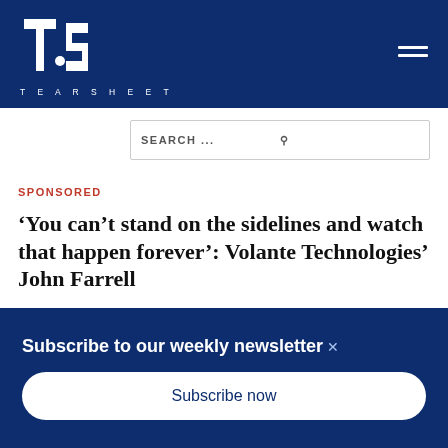TEARSHEET
SEARCH ...
SPONSORED
'You can’t stand on the sidelines and watch that happen forever’: Volante Technologies’ John Farrell
The market value of financial products offered
Subscribe to our weekly newsletter
Subscribe now